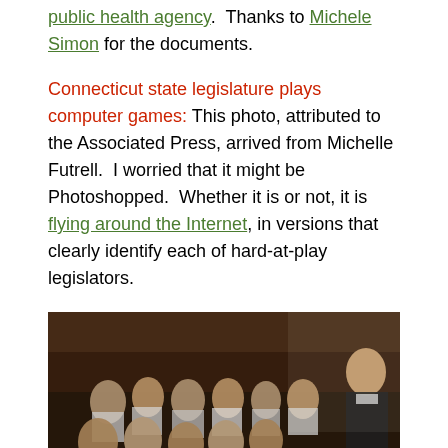public health agency. Thanks to Michele Simon for the documents.
Connecticut state legislature plays computer games: This photo, attributed to the Associated Press, arrived from Michelle Futrell. I worried that it might be Photoshopped. Whether it is or not, it is flying around the Internet, in versions that clearly identify each of hard-at-play legislators.
[Figure (photo): A crowded legislative chamber with legislators seated at desks with laptops, and one man in a dark suit standing and speaking, appearing to address the assembly.]